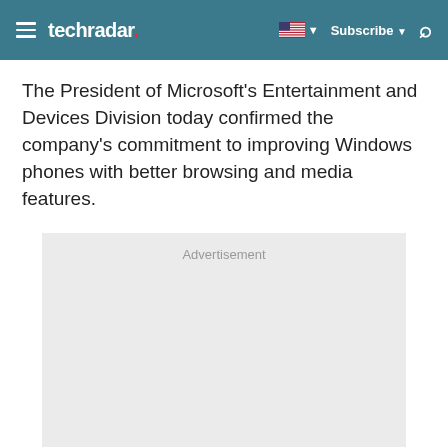techradar
The President of Microsoft's Entertainment and Devices Division today confirmed the company's commitment to improving Windows phones with better browsing and media features.
[Figure (other): Advertisement placeholder box with grey background]